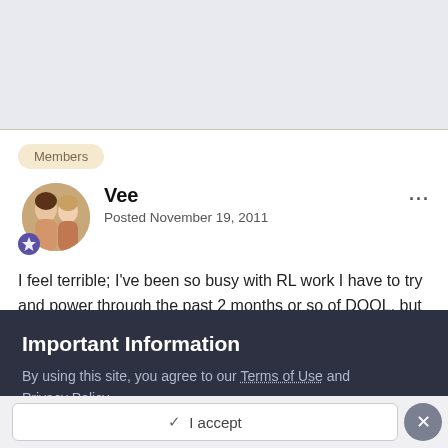[Figure (screenshot): Gray banner/header area at the top of the page]
Members
[Figure (photo): Circular avatar photo showing two women, with a purple badge icon underneath]
Vee
Posted November 19, 2011
I feel terrible; I've been so busy with RL work I have to try and power through the past 2 months or so of DOOL, but I refuse to not watch it all, it's so good. Does Will officially like dick yet?
Important Information
By using this site, you agree to our Terms of Use and Privacy Policy
✓  I accept